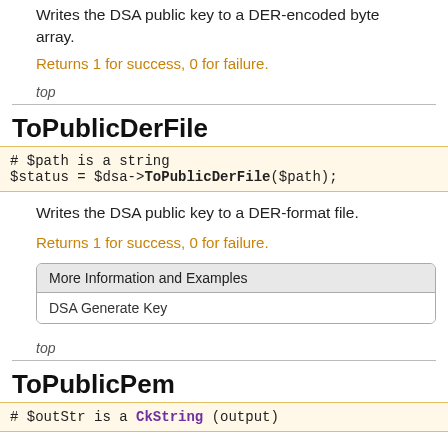Writes the DSA public key to a DER-encoded byte array.
Returns 1 for success, 0 for failure.
top
ToPublicDerFile
# $path is a string
$status = $dsa->ToPublicDerFile($path);
Writes the DSA public key to a DER-format file.
Returns 1 for success, 0 for failure.
| More Information and Examples |
| --- |
| DSA Generate Key |
top
ToPublicPem
# $outStr is a CkString (output)